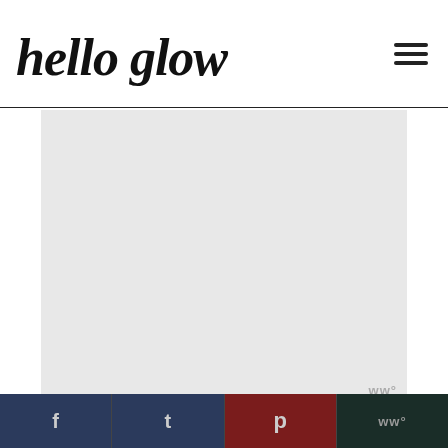hello glow
[Figure (photo): Large light grey placeholder image area for a beauty/skincare article, with a small watermark 'WWº' at the bottom right corner.]
Moisturizing Honey Strawberry Mask // For deeper moisturizing this formula…
f  t  p  WWº